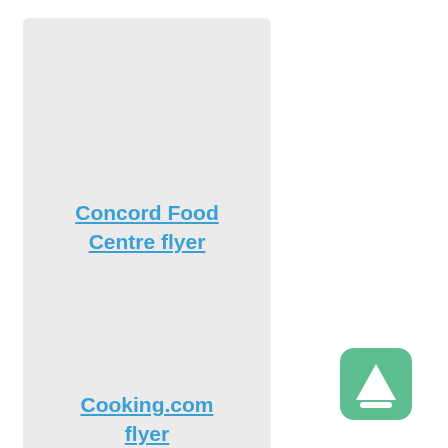[Figure (other): Card with light grey background containing a link labelled 'Concord Food Centre flyer' in bold blue underlined text]
[Figure (other): Card with light grey background containing a link labelled 'Cooking.com flyer' in bold blue underlined text]
[Figure (logo): Green rounded square icon with a white upward-pointing triangle/arrow shape in the centre]